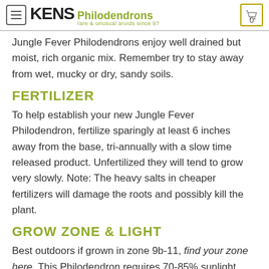KENS Philodendrons rare & unusual aroids since 97
Jungle Fever Philodendrons enjoy well drained but moist, rich organic mix. Remember try to stay away from wet, mucky or dry, sandy soils.
FERTILIZER
To help establish your new Jungle Fever Philodendron, fertilize sparingly at least 6 inches away from the base, tri-annually with a slow time released product. Unfertilized they will tend to grow very slowly. Note: The heavy salts in cheaper fertilizers will damage the roots and possibly kill the plant.
GROW ZONE & LIGHT
Best outdoors if grown in zone 9b-11, find your zone here. This Philodendron requires 70-85% sunlight. Depending on your location filtered sun is best. In the northern end of their